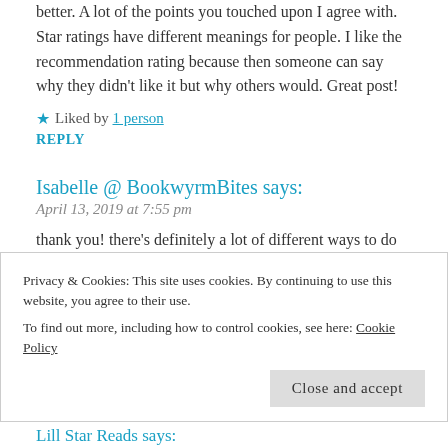better. A lot of the points you touched upon I agree with. Star ratings have different meanings for people. I like the recommendation rating because then someone can say why they didn't like it but why others would. Great post!
★ Liked by 1 person
REPLY
Isabelle @ BookwyrmBites says:
April 13, 2019 at 7:55 pm
thank you! there's definitely a lot of different ways to do ratings, and I think a lot of readers don't realize it (or consider it because the 5-star system is so prevalent) – recommendations are really helpful for
Privacy & Cookies: This site uses cookies. By continuing to use this website, you agree to their use.
To find out more, including how to control cookies, see here: Cookie Policy
Close and accept
Lill Star Reads says: